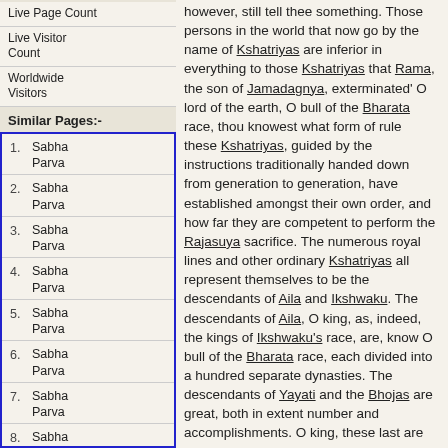Live Page Count
Live Visitor Count
Worldwide Visitors
Similar Pages:-
1. Sabha Parva
2. Sabha Parva
3. Sabha Parva
4. Sabha Parva
5. Sabha Parva
6. Sabha Parva
7. Sabha Parva
8. Sabha Parva
9. Sabha Parva
however, still tell thee something. Those persons in the world that now go by the name of Kshatriyas are inferior in everything to those Kshatriyas that Rama, the son of Jamadagnya, exterminated' O lord of the earth, O bull of the Bharata race, thou knowest what form of rule these Kshatriyas, guided by the instructions traditionally handed down from generation to generation, have established amongst their own order, and how far they are competent to perform the Rajasuya sacrifice. The numerous royal lines and other ordinary Kshatriyas all represent themselves to be the descendants of Aila and Ikshwaku. The descendants of Aila, O king, as, indeed, the kings of Ikshwaku's race, are, know O bull of the Bharata race, each divided into a hundred separate dynasties. The descendants of Yayati and the Bhojas are great, both in extent number and accomplishments. O king, these last are to-day scattered all over the earth. And all the Kshatriyas worship the prosperity of those monarchs.
At present, however, O monarch, king Jarasandha, overcoming that prosperity enjoyed by their whole order, and overpowering them by his energy hath set himself over the heads of all these kings. And Jarasandha, enjoying the sovereignty over the middle portion of the earth Mathura, resolved to create a disunion amongst ourselves. O monarch, the king who is the lord paramount of all kings, and in whom alone the dominion of the universe is centered, properly deserves to be called an emperor. And, O monarch, king Sisupala endued with great energy...